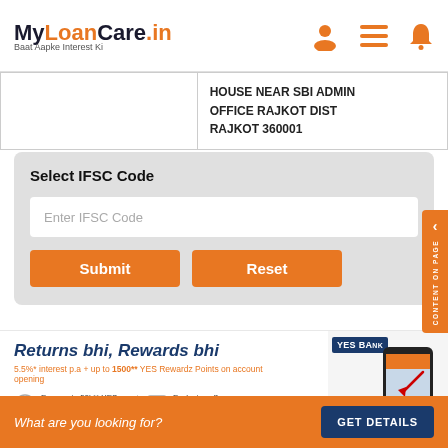MyLoanCare.in — Baat Aapke Interest Ki
|  | HOUSE NEAR SBI ADMIN OFFICE RAJKOT DIST RAJKOT 360001 |
Select IFSC Code
Enter IFSC Code
Submit | Reset
[Figure (screenshot): YES Bank advertisement banner: Returns bhi, Rewards bhi. 5.5%* interest p.a + up to 1500** YES Rewardz Points on account opening. Earn up to 50k** YES Rewardz Points in 1st year. Exclusive offers on Demat & Lockers. Phone image and YES BANK logo shown.]
What are you looking for? — GET DETAILS